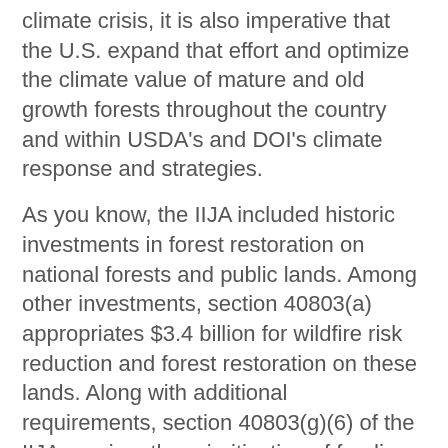climate crisis, it is also imperative that the U.S. expand that effort and optimize the climate value of mature and old growth forests throughout the country and within USDA's and DOI's climate response and strategies.
As you know, the IIJA included historic investments in forest restoration on national forests and public lands. Among other investments, section 40803(a) appropriates $3.4 billion for wildfire risk reduction and forest restoration on these lands. Along with additional requirements, section 40803(g)(6) of the IIJA requires the prioritization of funding for projects that:
fully maintain or contribute toward the restoration of the structure and composition of old growth stands consistent with the characteristics of that forest type, taking into account the contribution of the old